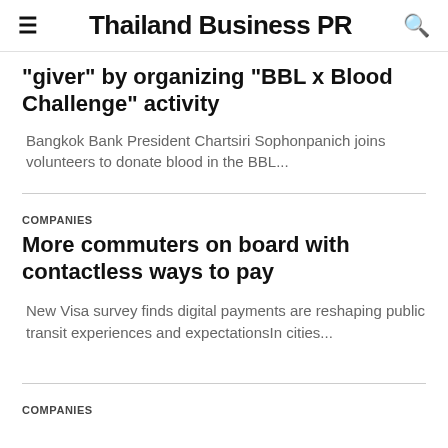Thailand Business PR
“giver” by organizing “BBL x Blood Challenge” activity
Bangkok Bank President Chartsiri Sophonpanich joins volunteers to donate blood in the BBL...
COMPANIES
More commuters on board with contactless ways to pay
New Visa survey finds digital payments are reshaping public transit experiences and expectationsIn cities...
COMPANIES